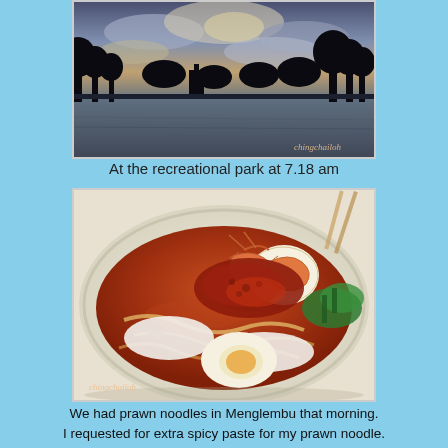[Figure (photo): Outdoor sunset/dawn photo at a recreational park showing silhouetted trees reflected in water with dramatic cloudy sky. Watermark 'chingchailoh' visible in bottom right corner.]
At the recreational park at 7.18 am
[Figure (photo): Close-up food photo of a bowl of prawn noodle soup (mee udang) with prawns, eggs, fish cake slices, vegetables, and spicy red chilli paste on top. Watermark 'chingchailoh' visible in bottom left corner.]
We had prawn noodles in Menglembu that morning. I requested for extra spicy paste for my prawn noodle.